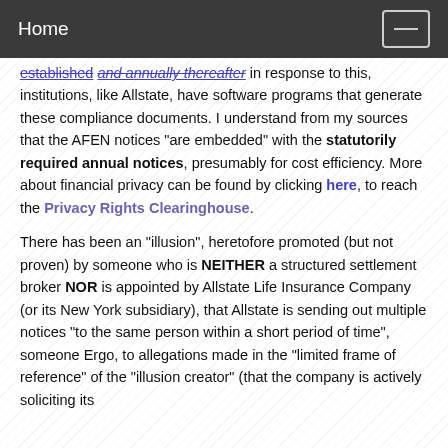Home
established and annually thereafter in response to this, institutions, like Allstate, have software programs that generate these compliance documents. I understand from my sources that the AFEN notices "are embedded" with the statutorily required annual notices, presumably for cost efficiency. More about financial privacy can be found by clicking here, to reach the Privacy Rights Clearinghouse.
There has been an "illusion", heretofore promoted (but not proven) by someone who is NEITHER a structured settlement broker NOR is appointed by Allstate Life Insurance Company (or its New York subsidiary), that Allstate is sending out multiple notices "to the same person within a short period of time", someone Ergo, to allegations made in the "limited frame of reference" of the "illusion creator" (that the company is actively soliciting its